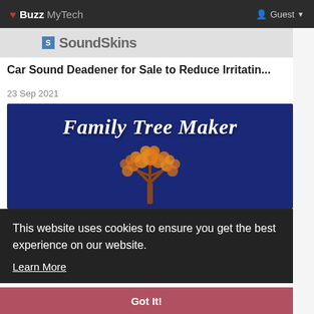❤ Buzz MyTech   Guest
[Figure (logo): Partial logo strip with blue box and partial text of 'SoundSkins' brand logo]
Car Sound Deadener for Sale to Reduce Irritatin...
23 Sep 2021
[Figure (photo): Family Tree Maker banner: dark navy blue background with white italic serif text 'Family Tree Maker' and an orange tree illustration in the center]
This website uses cookies to ensure you get the best experience on our website.
Learn More
Got It!